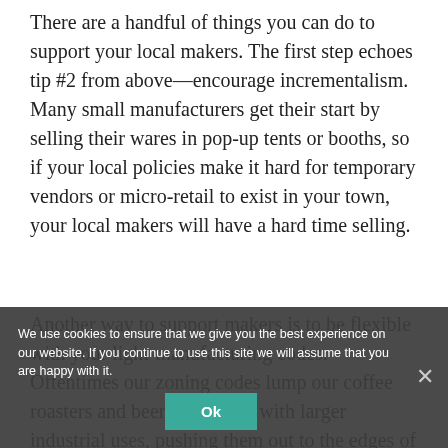There are a handful of things you can do to support your local makers. The first step echoes tip #2 from above—encourage incrementalism. Many small manufacturers get their start by selling their wares in pop-up tents or booths, so if your local policies make it hard for temporary vendors or micro-retail to exist in your town, your local makers will have a hard time selling.
Another way to support makers is to be flexible with your light-manufacturing codes. Oftentimes our zoning codes lump our coffee roasters and beer brewers in with larger industrial uses, pushing them out to the edges of our cities. More often than not, makers and small-scale industry more appropriately fit in (or close to) our downtowns, so
We use cookies to ensure that we give you the best experience on our website. If you continue to use this site we will assume that you are happy with it.